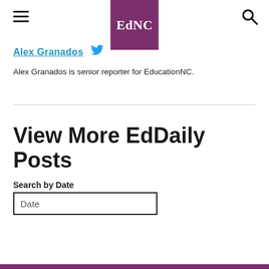EdNC
Alex Granados
Alex Granados is senior reporter for EducationNC.
View More EdDaily Posts
Search by Date
Date